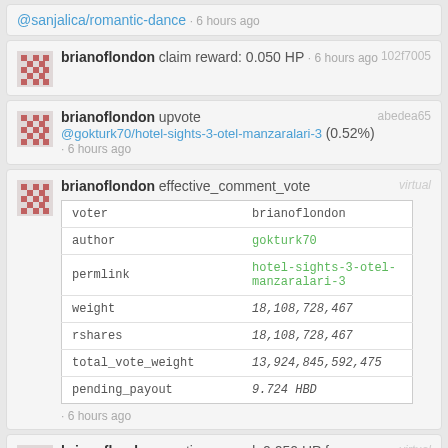@sanjalica/romantic-dance · 6 hours ago
brianoflondon claim reward: 0.050 HP · 6 hours ago 102f7005
brianoflondon upvote @gokturk70/hotel-sights-3-otel-manzaralari-3 (0.52%) · 6 hours ago abedea65
|  |  |
| --- | --- |
| voter | brianoflondon |
| author | gokturk70 |
| permlink | hotel-sights-3-otel-manzaralari-3 |
| weight | 18,108,728,467 |
| rshares | 18,108,728,467 |
| total_vote_weight | 13,924,845,592,475 |
| pending_payout | 9.724 HBD |
brianoflondon effective_comment_vote · 6 hours ago virtual
brianoflondon curation reward: 0.050 HP for @sagesigma/scenes-from-our-m... · 6 hours ago virtual
brianoflondon claim reward: 0.020 HP · 6 hours ago ad1b6a48
brianoflondon curation reward: 0.010 HP for virtual